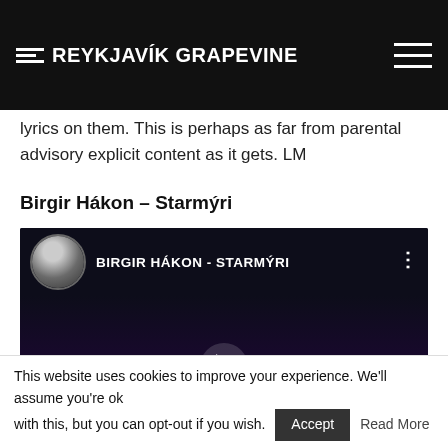THE REYKJAVÍK GRAPEVINE
lyrics on them. This is perhaps as far from parental advisory explicit content as it gets. LM
Birgir Hákon – Starmýri
[Figure (screenshot): YouTube video embed showing 'BIRGIR HÁKON - STARMÝRI' with avatar thumbnail, dark video area, and play button]
This website uses cookies to improve your experience. We'll assume you're ok with this, but you can opt-out if you wish. Accept  Read More